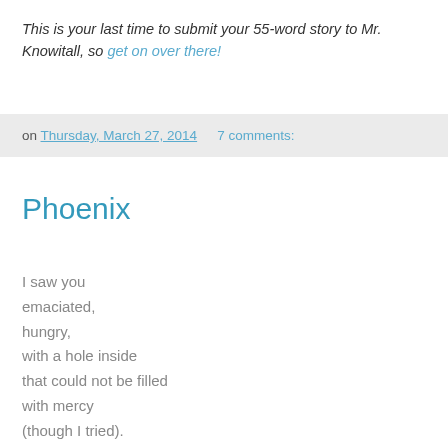This is your last time to submit your 55-word story to Mr. Knowitall, so get on over there!
on Thursday, March 27, 2014   7 comments:
Phoenix
I saw you
emaciated,
hungry,
with a hole inside
that could not be filled
with mercy
(though I tried).

With the cunning
of a judo master,